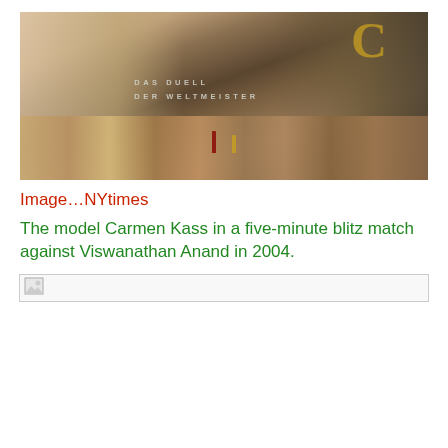[Figure (photo): Photo of model Carmen Kass and chess grandmaster Viswanathan Anand playing chess at a table with chess pieces, with text 'DAS DUELL DER WELTMEISTER' visible in the background.]
Image…NYtimes
The model Carmen Kass in a five-minute blitz match against Viswanathan Anand in 2004.
[Figure (photo): Small image placeholder (broken/missing image icon)]